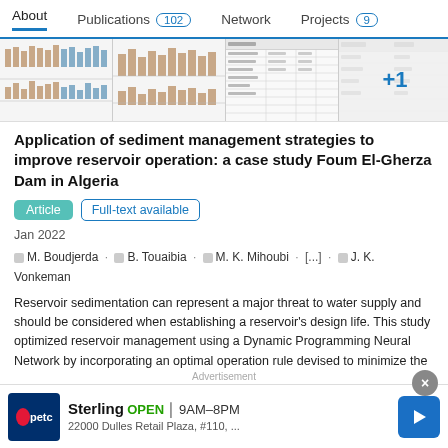About   Publications 102   Network   Projects 9
[Figure (screenshot): Thumbnail strip showing charts, tables and figures from the publication]
Application of sediment management strategies to improve reservoir operation: a case study Foum El-Gherza Dam in Algeria
Article   Full-text available
Jan 2022
M. Boudjerda · B. Touaibia · M. K. Mihoubi · [...] · J. K. Vonkeman
Reservoir sedimentation can represent a major threat to water supply and should be considered when establishing a reservoir's design life. This study optimized reservoir management using a Dynamic Programming Neural Network by incorporating an optimal operation rule devised to minimize the
Advertisement  Sterling OPEN 9AM–8PM  22000 Dulles Retail Plaza, #110, ...